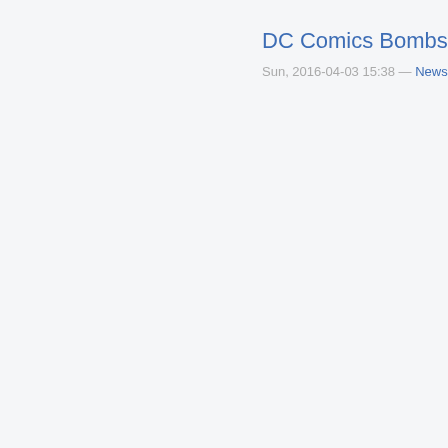DC Comics Bombshell
Sun, 2016-04-03 15:38 — News